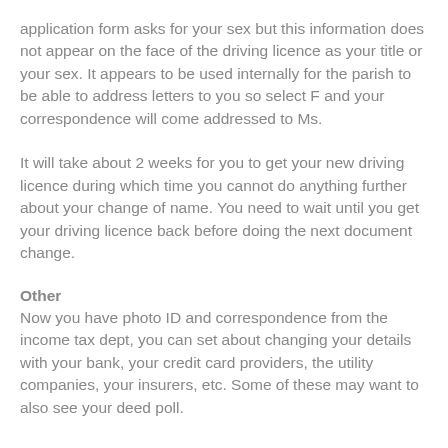application form asks for your sex but this information does not appear on the face of the driving licence as your title or your sex. It appears to be used internally for the parish to be able to address letters to you so select F and your correspondence will come addressed to Ms.
It will take about 2 weeks for you to get your new driving licence during which time you cannot do anything further about your change of name. You need to wait until you get your driving licence back before doing the next document change.
Other
Now you have photo ID and correspondence from the income tax dept, you can set about changing your details with your bank, your credit card providers, the utility companies, your insurers, etc. Some of these may want to also see your deed poll.